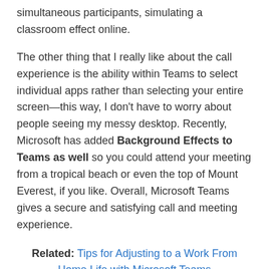simultaneous participants, simulating a classroom effect online.
The other thing that I really like about the call experience is the ability within Teams to select individual apps rather than selecting your entire screen—this way, I don't have to worry about people seeing my messy desktop. Recently, Microsoft has added Background Effects to Teams as well so you could attend your meeting from a tropical beach or even the top of Mount Everest, if you like. Overall, Microsoft Teams gives a secure and satisfying call and meeting experience.
Related: Tips for Adjusting to a Work From Home Life with Microsoft Teams